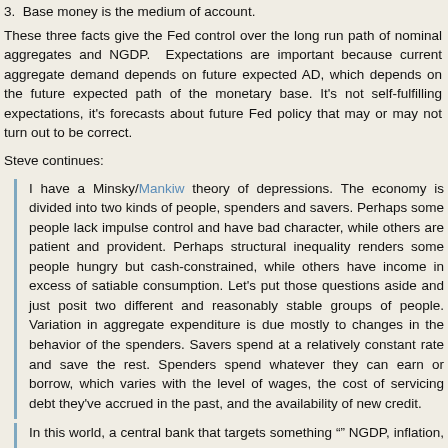3.  Base money is the medium of account.
These three facts give the Fed control over the long run path of nominal aggregates and NGDP.  Expectations are important because current aggregate demand depends on future expected AD, which depends on the future expected path of the monetary base. It's not self-fulfilling expectations, it's forecasts about future Fed policy that may or may not turn out to be correct.
Steve continues:
I have a Minsky/Mankiw theory of depressions. The economy is divided into two kinds of people, spenders and savers. Perhaps some people lack impulse control and have bad character, while others are patient and provident. Perhaps structural inequality renders some people hungry but cash-constrained, while others have income in excess of satiable consumption. Let's put those questions aside and just posit two different and reasonably stable groups of people. Variation in aggregate expenditure is due mostly to changes in the behavior of the spenders. Savers spend at a relatively constant rate and save the rest. Spenders spend whatever they can earn or borrow, which varies with the level of wages, the cost of servicing debt they've accrued in the past, and the availability of new credit.
In this world, a central bank that targets something "" NGDP, inflation, whatev "" doesn't regulate behavior via expectations. Instead, the central bank regul